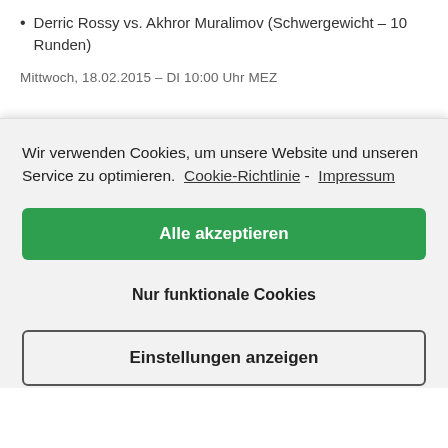Derric Rossy vs. Akhror Muralimov (Schwergewicht – 10 Runden)
Mittwoch, 18.02.2015 – DI 10:00 Uhr MEZ
Wir verwenden Cookies, um unsere Website und unseren Service zu optimieren.  Cookie-Richtlinie -  Impressum
Alle akzeptieren
Nur funktionale Cookies
Einstellungen anzeigen